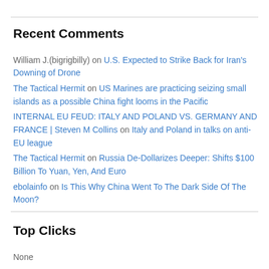Recent Comments
William J.(bigrigbilly) on U.S. Expected to Strike Back for Iran's Downing of Drone
The Tactical Hermit on US Marines are practicing seizing small islands as a possible China fight looms in the Pacific
INTERNAL EU FEUD: ITALY AND POLAND VS. GERMANY AND FRANCE | Steven M Collins on Italy and Poland in talks on anti-EU league
The Tactical Hermit on Russia De-Dollarizes Deeper: Shifts $100 Billion To Yuan, Yen, And Euro
ebolainfo on Is This Why China Went To The Dark Side Of The Moon?
Top Clicks
None